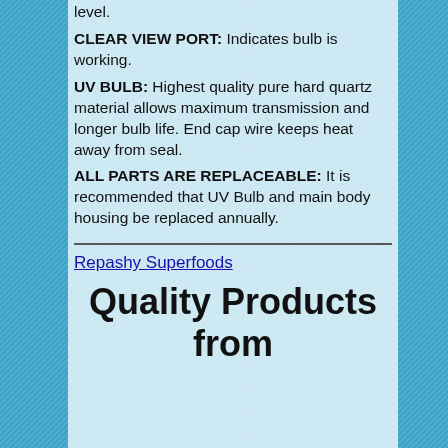level.
CLEAR VIEW PORT: Indicates bulb is working.
UV BULB: Highest quality pure hard quartz material allows maximum transmission and longer bulb life. End cap wire keeps heat away from seal.
ALL PARTS ARE REPLACEABLE: It is recommended that UV Bulb and main body housing be replaced annually.
Repashy Superfoods
Quality Products from